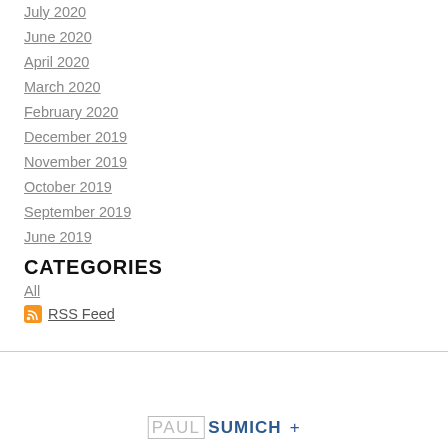July 2020
June 2020
April 2020
March 2020
February 2020
December 2019
November 2019
October 2019
September 2019
June 2019
CATEGORIES
All
RSS Feed
PAUL SUMICH +